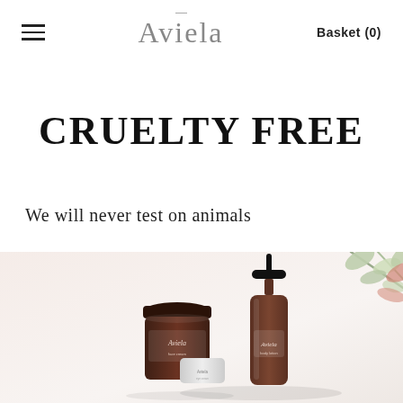≡  Aviela  Basket (0)
CRUELTY FREE
We will never test on animals
[Figure (photo): Aviela skincare product bottles and jars arranged on a light pink/white background with a eucalyptus branch in the upper right corner. Products include a pump bottle and a jar, both labeled Aviela, in amber/dark brown tones.]